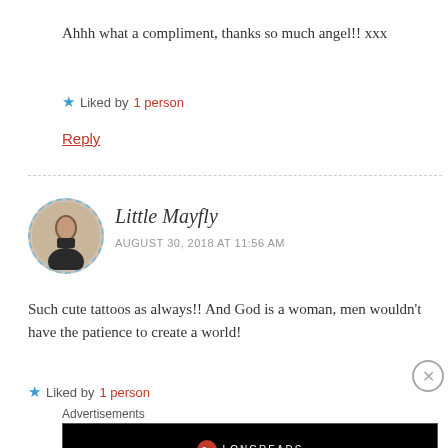Ahhh what a compliment, thanks so much angel!! xxx
Liked by 1 person
Reply
Little Mayfly
AUGUST 30, 2018 AT 11:56 AM
Such cute tattoos as always!! And God is a woman, men wouldn't have the patience to create a world!
Liked by 1 person
Advertisements
[Figure (screenshot): Longreads advertisement banner with text 'Read anything great lately?']